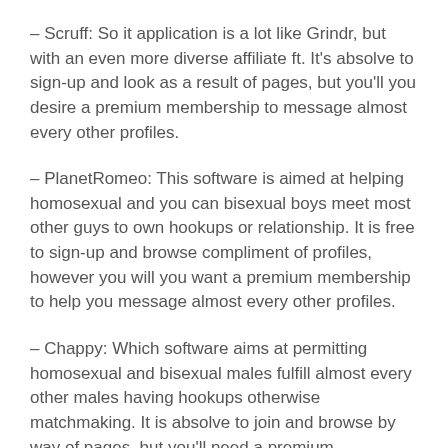– Scruff: So it application is a lot like Grindr, but with an even more diverse affiliate ft. It's absolve to sign-up and look as a result of pages, but you'll you desire a premium membership to message almost every other profiles.
– PlanetRomeo: This software is aimed at helping homosexual and you can bisexual boys meet most other guys to own hookups or relationship. It is free to sign-up and browse compliment of profiles, however you will you want a premium membership to help you message almost every other profiles.
– Chappy: Which software aims at permitting homosexual and bisexual males fulfill almost every other males having hookups otherwise matchmaking. It is absolve to join and browse by way of pages, but you'll need a premium registration to content most other profiles.